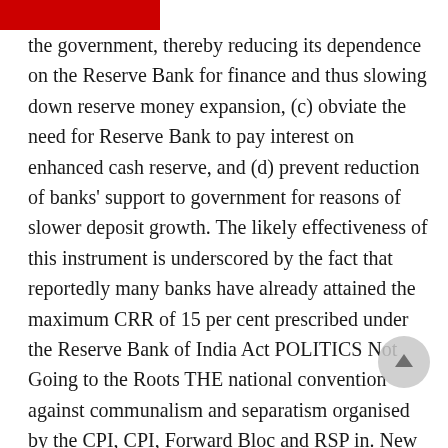the government, thereby reducing its dependence on the Reserve Bank for finance and thus slowing down reserve money expansion, (c) obviate the need for Reserve Bank to pay interest on enhanced cash reserve, and (d) prevent reduction of banks' support to government for reasons of slower deposit growth. The likely effectiveness of this instrument is underscored by the fact that reportedly many banks have already attained the maximum CRR of 15 per cent prescribed under the Reserve Bank of India Act POLITICS Not Going to the Roots THE national convention against communalism and separatism organised by the CPI, CPI, Forward Bloc and RSP in. New Delhi on October 12 could be a major step in Indian politics, provided the organisers sustain their proposed